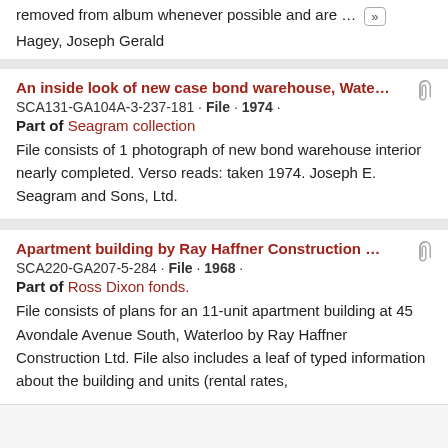removed from album whenever possible and are ...
Hagey, Joseph Gerald
An inside look of new case bond warehouse, Wate...
SCA131-GA104A-3-237-181 · File · 1974 ·
Part of Seagram collection
File consists of 1 photograph of new bond warehouse interior nearly completed. Verso reads: taken 1974. Joseph E. Seagram and Sons, Ltd.
Apartment building by Ray Haffner Construction ...
SCA220-GA207-5-284 · File · 1968 ·
Part of Ross Dixon fonds.
File consists of plans for an 11-unit apartment building at 45 Avondale Avenue South, Waterloo by Ray Haffner Construction Ltd. File also includes a leaf of typed information about the building and units (rental rates,